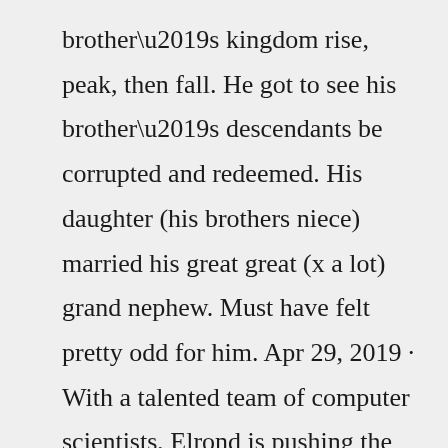brother’s kingdom rise, peak, then fall. He got to see his brother’s descendants be corrupted and redeemed. His daughter (his brothers niece) married his great great (x a lot) grand nephew. Must have felt pretty odd for him. Apr 29, 2019 · With a talented team of computer scientists, Elrond is pushing the limits of research and practical development of a highly sophisticated and novel concept — blockchain sharding. A